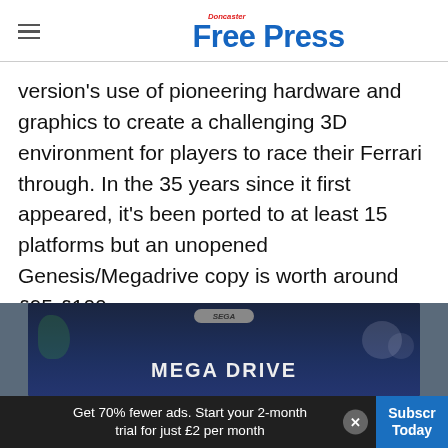Doncaster Free Press
version’s use of pioneering hardware and graphics to create a challenging 3D environment for players to race their Ferrari through. In the 35 years since it first appeared, it’s been ported to at least 15 platforms but an unopened Genesis/Megadrive copy is worth around £95-£100.
[Figure (photo): Sega Mega Drive game box partially visible at the bottom of the page]
Get 70% fewer ads. Start your 2-month trial for just £2 per month   Subscribe Today